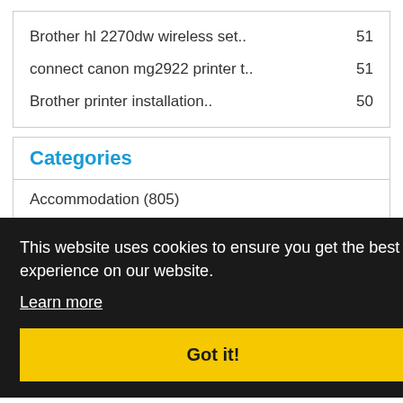Brother hl 2270dw wireless set..    51
connect canon mg2922 printer t..    51
Brother printer installation..    50
Categories
Accommodation (805)
Advertising and Marketing (932)
Alternative Medicine (?)
Animal (83)
Automotive (80)
Beauty (76)
This website uses cookies to ensure you get the best experience on our website. Learn more
Got it!